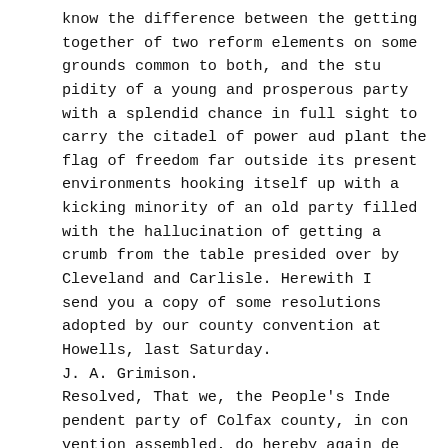know the difference between the getting together of two reform elements on some grounds common to both, and the stu pidity of a young and prosperous party with a splendid chance in full sight to carry the citadel of power aud plant the flag of freedom far outside its present environments hooking itself up with a kicking minority of an old party filled with the hallucination of getting a crumb from the table presided over by Cleveland and Carlisle. Herewith I send you a copy of some resolutions adopted by our county convention at Howells, last Saturday.
J. A. Grimison.
Resolved, That we, the People's Inde pendent party of Colfax county, in con vention assembled, do hereby again de sire to express our continued adherence